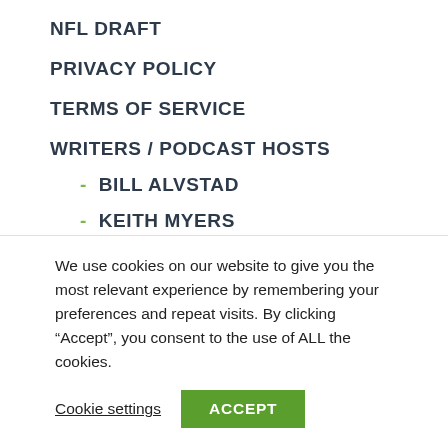NFL DRAFT
PRIVACY POLICY
TERMS OF SERVICE
WRITERS / PODCAST HOSTS
- BILL ALVSTAD
- KEITH MYERS
YOUTUBE CHANNEL
We use cookies on our website to give you the most relevant experience by remembering your preferences and repeat visits. By clicking “Accept”, you consent to the use of ALL the cookies.
Cookie settings   ACCEPT